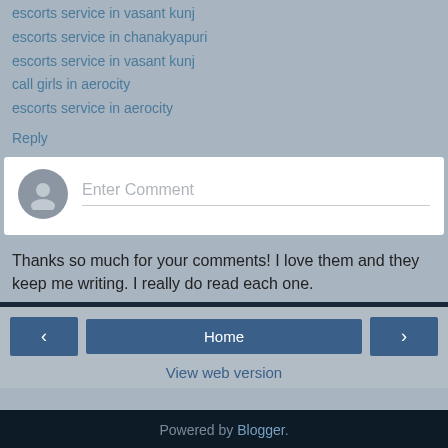escorts service in vasant kunj
escorts service in chanakyapuri
escorts service in vasant kunj
call girls in aerocity
escorts service in aerocity
Reply
[Figure (screenshot): Comment input box with avatar icon and placeholder text 'Enter Comment']
Thanks so much for your comments! I love them and they keep me writing. I really do read each one.
[Figure (screenshot): Navigation bar with left arrow button, Home button, and right arrow button]
View web version
Powered by Blogger.